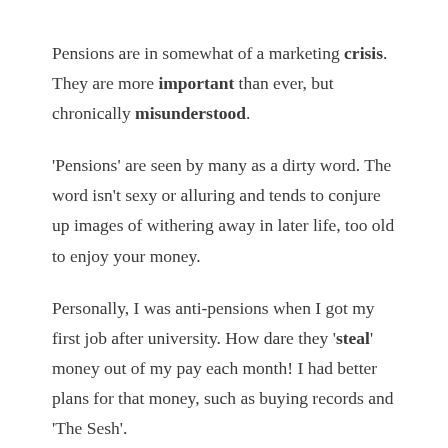Pensions are in somewhat of a marketing crisis. They are more important than ever, but chronically misunderstood.
'Pensions' are seen by many as a dirty word. The word isn't sexy or alluring and tends to conjure up images of withering away in later life, too old to enjoy your money.
Personally, I was anti-pensions when I got my first job after university. How dare they 'steal' money out of my pay each month! I had better plans for that money, such as buying records and 'The Sesh'.
Other common phrases thrown about: